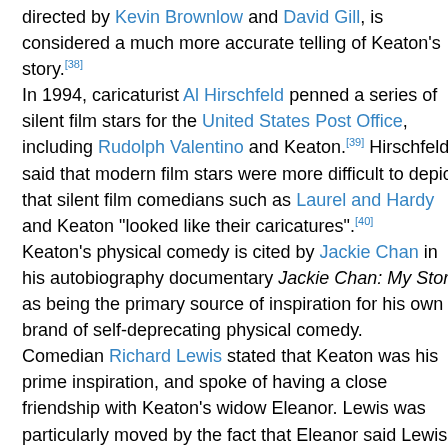directed by Kevin Brownlow and David Gill, is considered a much more accurate telling of Keaton's story.[38] In 1994, caricaturist Al Hirschfeld penned a series of silent film stars for the United States Post Office, including Rudolph Valentino and Keaton.[39] Hirschfeld said that modern film stars were more difficult to depict, that silent film comedians such as Laurel and Hardy and Keaton "looked like their caricatures".[40] Keaton's physical comedy is cited by Jackie Chan in his autobiography documentary Jackie Chan: My Story as being the primary source of inspiration for his own brand of self-deprecating physical comedy. Comedian Richard Lewis stated that Keaton was his prime inspiration, and spoke of having a close friendship with Keaton's widow Eleanor. Lewis was particularly moved by the fact that Eleanor said Lewis' eyes looked like Keaton's.[41]
Pork pie hats
[Figure (photo): An image placeholder (broken image icon) inside a bordered box, representing a photo related to pork pie hats.]